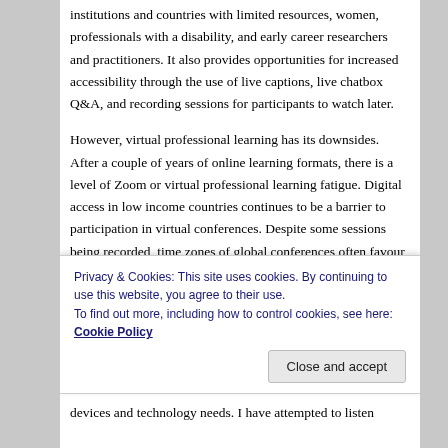institutions and countries with limited resources, women, professionals with a disability, and early career researchers and practitioners. It also provides opportunities for increased accessibility through the use of live captions, live chatbox Q&A, and recording sessions for participants to watch later.
However, virtual professional learning has its downsides. After a couple of years of online learning formats, there is a level of Zoom or virtual professional learning fatigue. Digital access in low income countries continues to be a barrier to participation in virtual conferences. Despite some sessions being recorded, time zones of global conferences often favour those in Europe and America. As someone in Western Australia, rarely have the times of
Privacy & Cookies: This site uses cookies. By continuing to use this website, you agree to their use.
To find out more, including how to control cookies, see here: Cookie Policy
devices and technology needs. I have attempted to listen